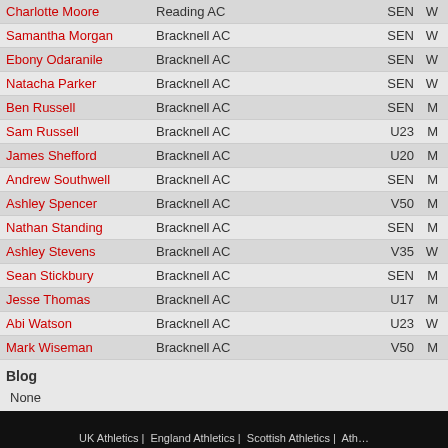| Name | Club | Age Cat | Sex |
| --- | --- | --- | --- |
| Charlotte Moore | Reading AC | SEN | W |
| Samantha Morgan | Bracknell AC | SEN | W |
| Ebony Odaranile | Bracknell AC | SEN | W |
| Natacha Parker | Bracknell AC | SEN | W |
| Ben Russell | Bracknell AC | SEN | M |
| Sam Russell | Bracknell AC | U23 | M |
| James Shefford | Bracknell AC | U20 | M |
| Andrew Southwell | Bracknell AC | SEN | M |
| Ashley Spencer | Bracknell AC | V50 | M |
| Nathan Standing | Bracknell AC | SEN | M |
| Ashley Stevens | Bracknell AC | V35 | W |
| Sean Stickbury | Bracknell AC | SEN | M |
| Jesse Thomas | Bracknell AC | U17 | M |
| Abi Watson | Bracknell AC | U23 | W |
| Mark Wiseman | Bracknell AC | V50 | M |
Blog
None
UK Athletics | England Athletics | Scottish Athletics | Ath…